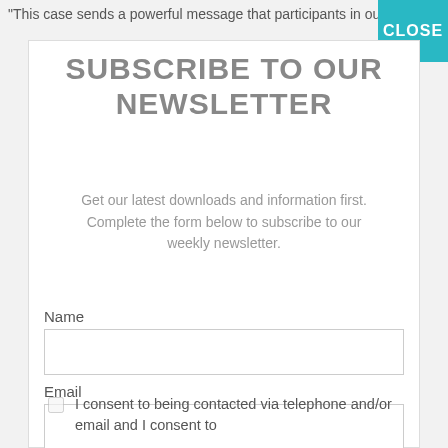"This case sends a powerful message that participants in our
SUBSCRIBE TO OUR NEWSLETTER
Get our latest downloads and information first. Complete the form below to subscribe to our weekly newsletter.
Name
Email
I consent to being contacted via telephone and/or email and I consent to